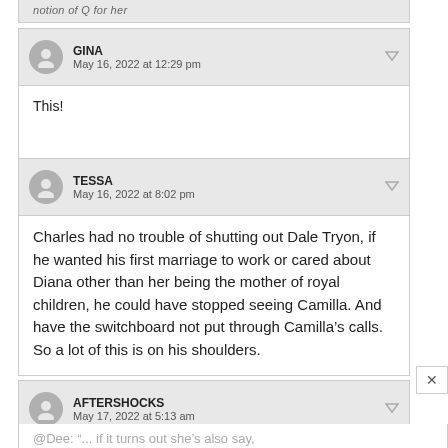notion of Q for her
GINA
May 16, 2022 at 12:29 pm
This!
TESSA
May 16, 2022 at 8:02 pm
Charles had no trouble of shutting out Dale Tryon, if he wanted his first marriage to work or cared about Diana other than her being the mother of royal children, he could have stopped seeing Camilla. And have the switchboard not put through Camilla’s calls. So a lot of this is on his shoulders.
AFTERSHOCKS
May 17, 2022 at 5:13 am
@Dee: “... if it turns out she’s also say, unfaithful to Charles, mean to his